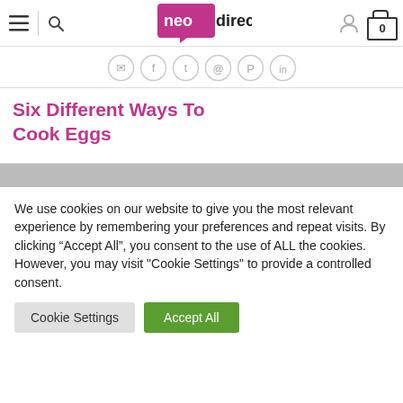neodirect — navigation header with hamburger menu, search, logo, user icon, and cart
[Figure (logo): neodirect logo — pink/magenta speech bubble shape with 'neo' in white and 'direct' in dark text, with a registered trademark symbol]
[Figure (infographic): Row of six circular social sharing icons (WhatsApp, Facebook, Twitter, Email, Pinterest, LinkedIn) with gray borders]
Six Different Ways To Cook Eggs
We use cookies on our website to give you the most relevant experience by remembering your preferences and repeat visits. By clicking “Accept All”, you consent to the use of ALL the cookies. However, you may visit "Cookie Settings" to provide a controlled consent.
Cookie Settings   Accept All